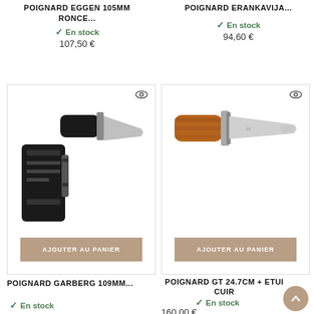POIGNARD EGGEN 105MM RONCE...
✓ En stock
107,50 €
POIGNARD ERANKAVIJA...
✓ En stock
94,60 €
[Figure (photo): Product photo of a black knife with sheath (POIGNARD GARBERG 109MM) with 'AJOUTER AU PANIER' button]
[Figure (photo): Product photo of a knife with brown burled wood handle (POIGNARD GT 24.7CM + ETUI CUIR) with 'AJOUTER AU PANIER' button]
POIGNARD GARBERG 109MM...
✓ En stock
POIGNARD GT 24.7CM + ETUI CUIR
✓ En stock
160,00 €